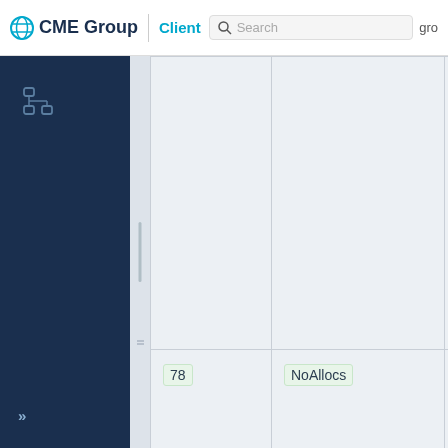CME Group | Client | Search | gro
|  | Name | Type |
| --- | --- | --- |
|  |  |  |
| 78 | NoAllocs | Char(1) |
| 79 | AllocAccount | String(11) |